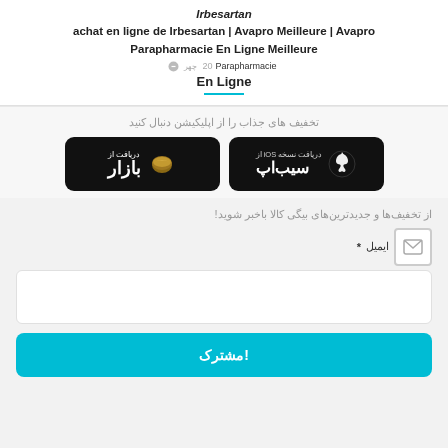Irbesartan
achat en ligne de Irbesartan | Avapro Meilleure | Avapro
Parapharmacie En Ligne Meilleure
20 | چهر | Parapharmacie
En Ligne
تخفیف های جذاب را از اپلیکیشن دنبال کنید
[Figure (screenshot): Two black app store download buttons: one for Bazaar (دریافت از بازار) and one for iOS Sibapp (دریافت نسخه iOS از سیب‌اپ)]
از تخفیف‌ها و جدیدترین‌های بیگی کالا باخبر شوید!
ایمیل *
مشترک!